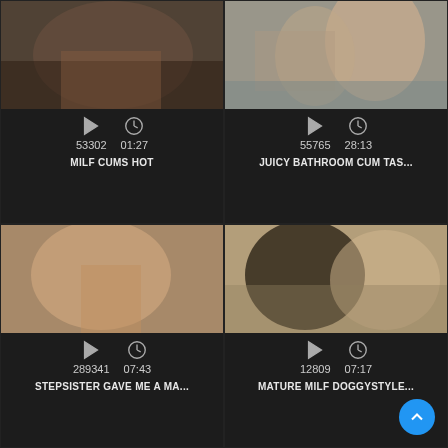[Figure (screenshot): Video thumbnail grid showing adult content video listings with play counts and durations]
53302  01:27  MILF CUMS HOT
55765  28:13  JUICY BATHROOM CUM TAS...
289341  07:43  STEPSISTER GAVE ME A MA...
12809  07:17  MATURE MILF DOGGYSTYLE...